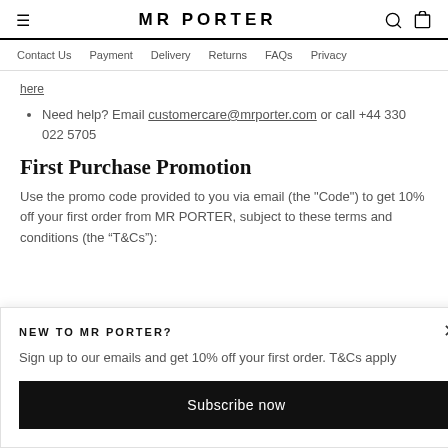MR PORTER
Contact Us | Payment | Delivery | Returns | FAQs | Privacy
Need help? Email customercare@mrporter.com or call +44 330 022 5705
First Purchase Promotion
Use the promo code provided to you via email (the "Code") to get 10% off your first order from MR PORTER, subject to these terms and conditions (the “T&Cs”):
NEW TO MR PORTER?
Sign up to our emails and get 10% off your first order. T&Cs apply
Subscribe now